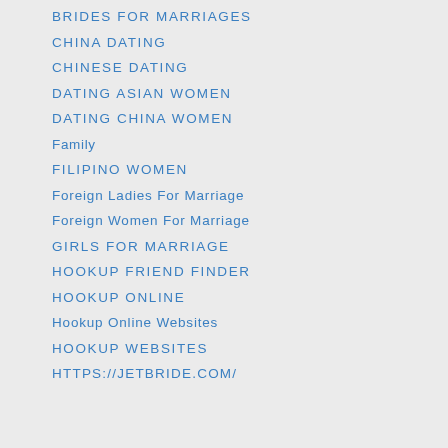brides for marriages
china dating
chinese dating
dating asian women
dating china women
Family
filipino women
Foreign Ladies For Marriage
Foreign Women For Marriage
girls for marriage
hookup friend finder
hookup online
Hookup Online Websites
hookup websites
https://jetbride.com/